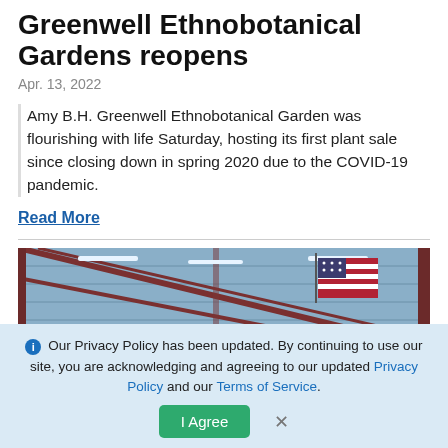Greenwell Ethnobotanical Gardens reopens
Apr. 13, 2022
Amy B.H. Greenwell Ethnobotanical Garden was flourishing with life Saturday, hosting its first plant sale since closing down in spring 2020 due to the COVID-19 pandemic.
Read More
[Figure (photo): A man speaking in a large metal warehouse or agricultural building with an American flag hanging on the wall in the background. Fluorescent lights visible on the roof structure.]
Our Privacy Policy has been updated. By continuing to use our site, you are acknowledging and agreeing to our updated Privacy Policy and our Terms of Service.